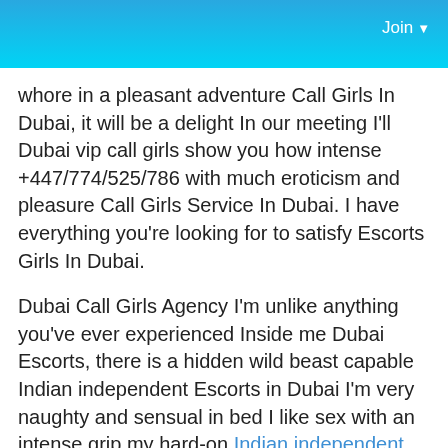Join
whore in a pleasant adventure Call Girls In Dubai, it will be a delight In our meeting I'll Dubai vip call girls show you how intense +447/774/525/786 with much eroticism and pleasure Call Girls Service In Dubai. I have everything you're looking for to satisfy Escorts Girls In Dubai.
Dubai Call Girls Agency I'm unlike anything you've ever experienced Inside me Dubai Escorts, there is a hidden wild beast capable Indian independent Escorts in Dubai I'm very naughty and sensual in bed I like sex with an intense grip my hard-on Indian independent Call Girls In Dubai is watching you come madly +447/774/525/786, of making you feel moments of pleasure.